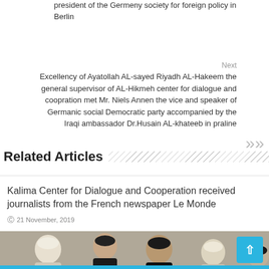president of the Germeny society for foreign policy in Berlin
Next
Excellency of Ayatollah AL-sayed Riyadh AL-Hakeem the general supervisor of AL-Hikmeh center for dialogue and coopration met Mr. Niels Annen the vice and speaker of Germanic social Democratic party accompanied by the Iraqi ambassador Dr.Husain AL-khateeb in praline
Related Articles
Kalima Center for Dialogue and Cooperation received journalists from the French newspaper Le Monde
21 November, 2019
[Figure (photo): Group of religious scholars or clerics seated at a meeting table, wearing traditional Islamic clerical dress including white and black turbans.]